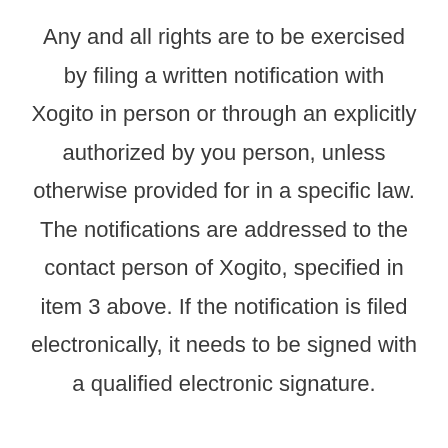Any and all rights are to be exercised by filing a written notification with Xogito in person or through an explicitly authorized by you person, unless otherwise provided for in a specific law. The notifications are addressed to the contact person of Xogito, specified in item 3 above. If the notification is filed electronically, it needs to be signed with a qualified electronic signature.